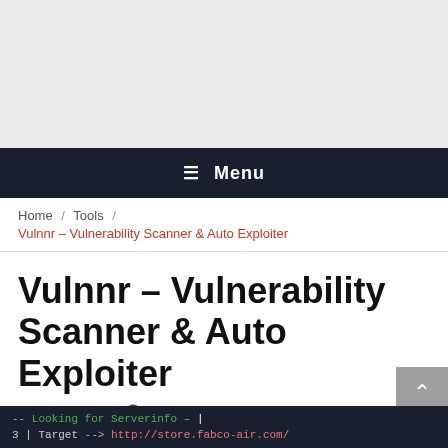[Figure (other): Gray advertisement placeholder area at the top of the page]
☰ Menu
Home / Tools / Vulnnr – Vulnerability Scanner & Auto Exploiter
Vulnnr – Vulnerability Scanner & Auto Exploiter
May 7, 2021  Admin
[Figure (screenshot): Dark terminal screenshot showing lines: '-- Looking for Serverinfo – |' and '3 | Target --> http://store.fabco-air.com/']